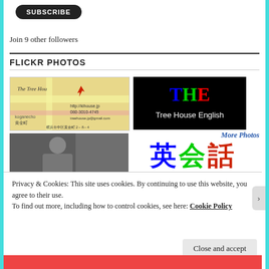[Figure (illustration): Black rounded rectangle Subscribe button]
Join 9 other followers
FLICKR PHOTOS
[Figure (photo): Map image showing The Tree House location in Japan with address details]
[Figure (illustration): Black background with THE in red/green/blue letters and Tree House English in white text]
[Figure (photo): Black and white photo of a person]
[Figure (illustration): Japanese kanji characters 英会話 in blue, green and red on white background]
More Photos
Privacy & Cookies: This site uses cookies. By continuing to use this website, you agree to their use.
To find out more, including how to control cookies, see here: Cookie Policy
Close and accept